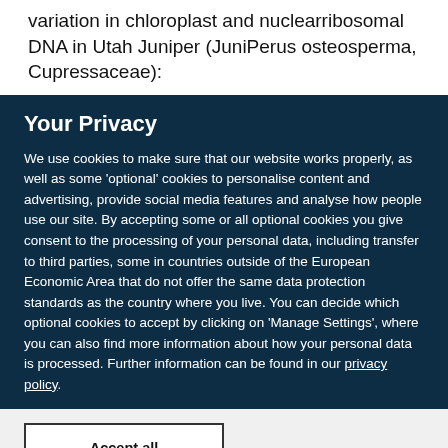variation in chloroplast and nuclearribosomal DNA in Utah Juniper (JuniPerus osteosperma, Cupressaceae):
Your Privacy
We use cookies to make sure that our website works properly, as well as some 'optional' cookies to personalise content and advertising, provide social media features and analyse how people use our site. By accepting some or all optional cookies you give consent to the processing of your personal data, including transfer to third parties, some in countries outside of the European Economic Area that do not offer the same data protection standards as the country where you live. You can decide which optional cookies to accept by clicking on 'Manage Settings', where you can also find more information about how your personal data is processed. Further information can be found in our privacy policy.
Accept all cookies
Manage preferences